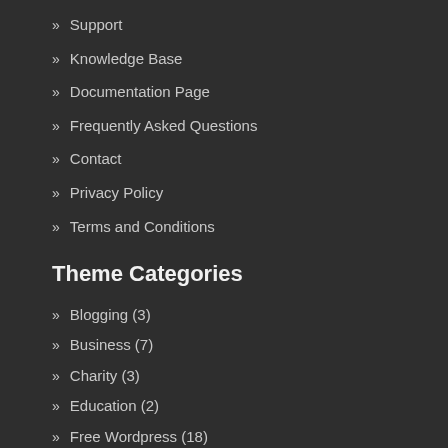Support
Knowledge Base
Documentation Page
Frequently Asked Questions
Contact
Privacy Policy
Terms and Conditions
Theme Categories
Blogging (3)
Business (7)
Charity (3)
Education (2)
Free Wordpress (18)
Magazine / News (4)
Photography Wordpress (2)
Premium (18)
Restaurant (2)
Theme Bundle (1)
Travel (2)